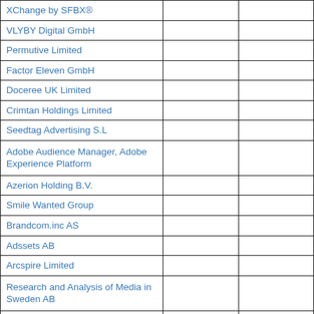| XChange by SFBX® |  |  |
| VLYBY Digital GmbH |  |  |
| Permutive Limited |  |  |
| Factor Eleven GmbH |  |  |
| Doceree UK Limited |  |  |
| Crimtan Holdings Limited |  |  |
| Seedtag Advertising S.L |  |  |
| Adobe Audience Manager, Adobe Experience Platform |  |  |
| Azerion Holding B.V. |  |  |
| Smile Wanted Group |  |  |
| Brandcom.inc AS |  |  |
| Adssets AB |  |  |
| Arcspire Limited |  |  |
| Research and Analysis of Media in Sweden AB |  |  |
| Sublime |  |  |
| Signal Digital Inc. |  |  |
| Fido S.r.l |  |  |
| Stream Eye OOD |  |  |
| Opinary GmbH |  |  |